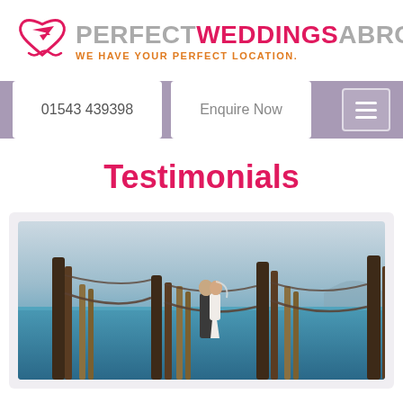[Figure (logo): Perfect Weddings Abroad logo with heart and plane icon, tagline: WE HAVE YOUR PERFECT LOCATION.]
01543 439398  Enquire Now
Testimonials
[Figure (photo): Wedding couple kissing on a dock/pier over water, surrounded by wooden posts with ropes, blue sky and lake/sea background.]